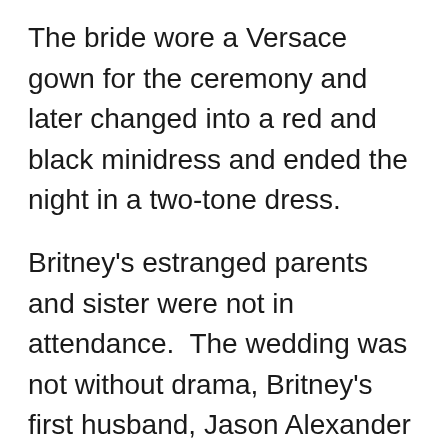The bride wore a Versace gown for the ceremony and later changed into a red and black minidress and ended the night in a two-tone dress.
Britney's estranged parents and sister were not in attendance.  The wedding was not without drama, Britney's first husband, Jason Alexander reportedly tried to crash the party and was detained by police.  He was later booked with trespassing, vandalism, and 2 counts of battery, according to TMZ.